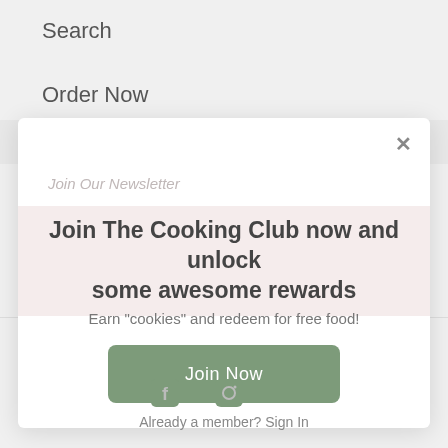Search
Order Now
Join Our Newsletter
[Figure (screenshot): Modal popup overlay on a restaurant/food website with a membership club promotion]
Join The Cooking Club now and unlock some awesome rewards
Earn "cookies" and redeem for free food!
Join Now
Already a member? Sign In
© 2022 Good Batch Mama